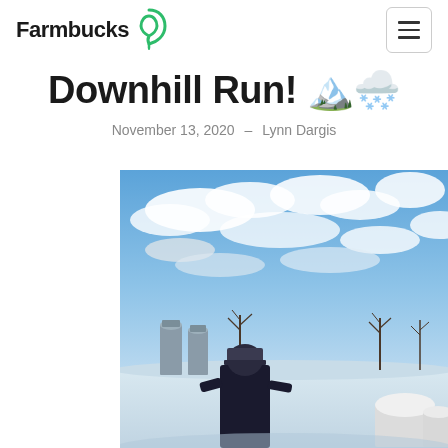Farmbucks
Downhill Run! 🏔️🌨️
November 13, 2020  –  Lynn Dargis
[Figure (photo): Outdoor winter farm scene with blue sky and clouds. A person in dark clothing and knit hat appears in foreground, with grain silos and bare trees visible in background. Snow on the ground, white cylindrical objects visible on the right.]